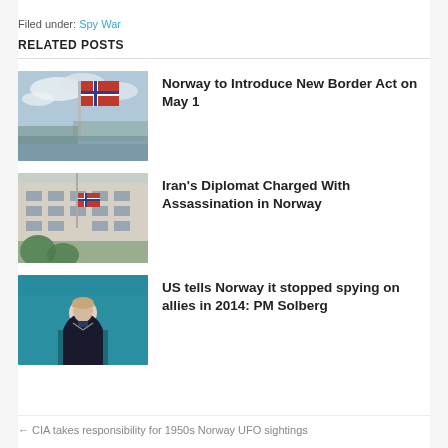Filed under: Spy War
RELATED POSTS
[Figure (photo): Norwegian flag waving against a cloudy sky with harbor in background]
Norway to Introduce New Border Act on May 1
[Figure (photo): White government building with a flag at half mast and trees in foreground]
Iran's Diplomat Charged With Assassination in Norway
[Figure (photo): Woman in dark clothing speaking at a podium against a teal/blue background]
US tells Norway it stopped spying on allies in 2014: PM Solberg
← CIA takes responsibility for 1950s Norway UFO sightings